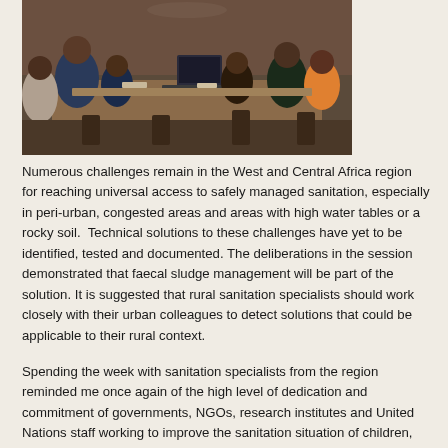[Figure (photo): People seated and standing around tables in a conference or workshop setting, working with laptops and papers. The scene shows a group meeting or training session with participants of African descent.]
Numerous challenges remain in the West and Central Africa region for reaching universal access to safely managed sanitation, especially in peri-urban, congested areas and areas with high water tables or a rocky soil.  Technical solutions to these challenges have yet to be identified, tested and documented. The deliberations in the session demonstrated that faecal sludge management will be part of the solution. It is suggested that rural sanitation specialists should work closely with their urban colleagues to detect solutions that could be applicable to their rural context.
Spending the week with sanitation specialists from the region reminded me once again of the high level of dedication and commitment of governments, NGOs, research institutes and United Nations staff working to improve the sanitation situation of children, women and men. The road to end open defecation in the region is